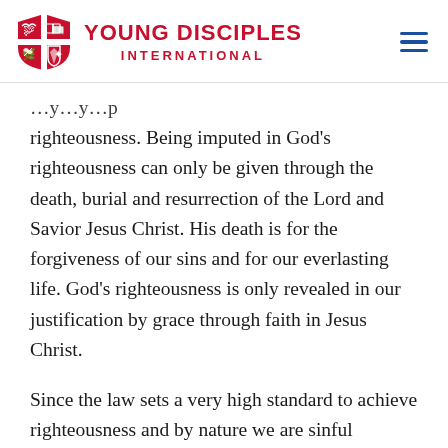YOUNG DISCIPLES INTERNATIONAL
righteousness. Being imputed in God’s righteousness can only be given through the death, burial and resurrection of the Lord and Savior Jesus Christ. His death is for the forgiveness of our sins and for our everlasting life. God’s righteousness is only revealed in our justification by grace through faith in Jesus Christ.
Since the law sets a very high standard to achieve righteousness and by nature we are sinful therefore we cannot get righteousness through it. The law is